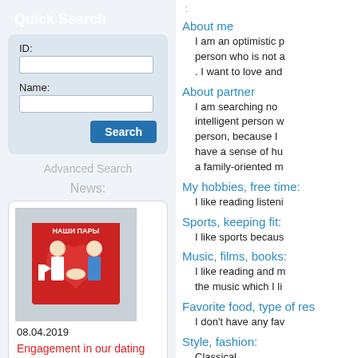Quick Search
ID:
Name:
Search
Advanced Search
News:
[Figure (photo): News image showing НАШИ ПАРЫ (Our Couples) with people at an event]
08.04.2019
Engagement in our dating agency
Read more...
:
About me
I am an optimistic p person who is not a . I want to love and
About partner
I am searching no intelligent person w person, because I have a sense of hu a family-oriented m
My hobbies, free time:
I like reading listeni
Sports, keeping fit:
I like sports becaus
Music, films, books:
I like reading and m the music which I li
Favorite food, type of res
I don't have any fav
Style, fashion:
Classical
Visited places: